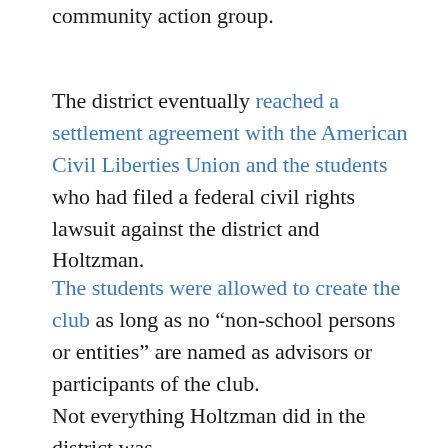community action group.
The district eventually reached a settlement agreement with the American Civil Liberties Union and the students who had filed a federal civil rights lawsuit against the district and Holtzman.
The students were allowed to create the club as long as no “non-school persons or entities” are named as advisors or participants of the club.
Not everything Holtzman did in the district was